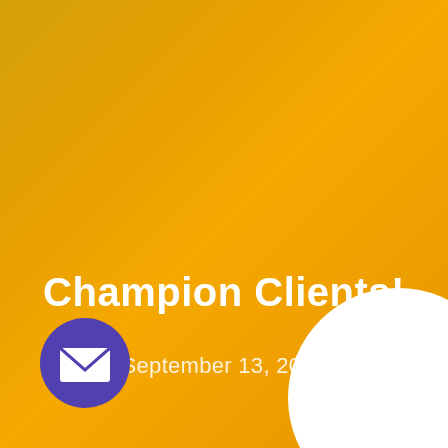Champion Clients!
September 13, 2012
[Figure (illustration): Purple circle with white envelope/mail icon at bottom left. White arc shape at bottom right corner.]